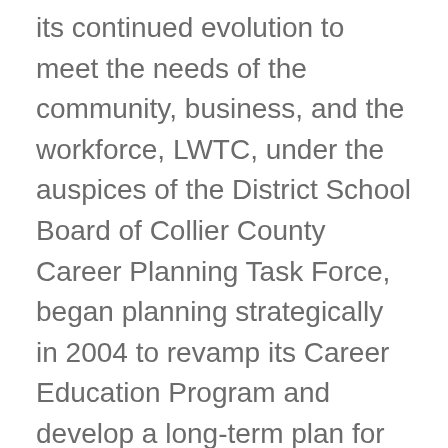its continued evolution to meet the needs of the community, business, and the workforce, LWTC, under the auspices of the District School Board of Collier County Career Planning Task Force, began planning strategically in 2004 to revamp its Career Education Program and develop a long-term plan for the District. The Career Planning Task Force issued a Comprehensive Career Education Plan which addressed staff need, curriculum development, counseling and marketing. As a result, in 2008, the Lorenzo Walker Technical High School opened on the campus, offering high school juniors and seniors an opportunity to attend certificate training programs. In August 2009, a nearly 200,000 square foot state-of-the-art facility, which houses all technical programs,